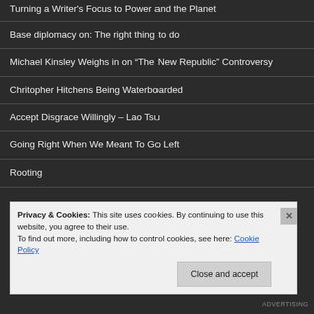Turning a Writer's Focus to Power and the Planet
Base diplomacy on: The right thing to do
Michael Kinsley Weighs in on “The New Republic” Controversy
Chritopher Hitchens Being Waterboarded
Accept Disgrace Willingly – Lao Tsu
Going Right When We Meant To Go Left
Rooting
Privacy & Cookies: This site uses cookies. By continuing to use this website, you agree to their use.
To find out more, including how to control cookies, see here: Cookie Policy
ADVERTISING